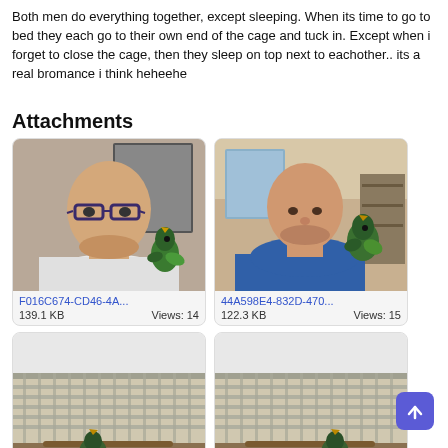Both men do everything together, except sleeping. When its time to go to bed they each go to their own end of the cage and tuck in. Except when i forget to close the cage, then they sleep on top next to eachother.. its a real bromance i think heheehe
Attachments
[Figure (photo): Man with glasses and a green parrot on his shoulder, selfie photo]
F016C674-CD46-4A...
139.1 KB    Views: 14
[Figure (photo): Bald man in blue shirt with green parrot on shoulder]
44A598E4-832D-470...
122.3 KB    Views: 15
[Figure (photo): Bird cage interior view from below]
[Figure (photo): Bird cage interior view from below second image]